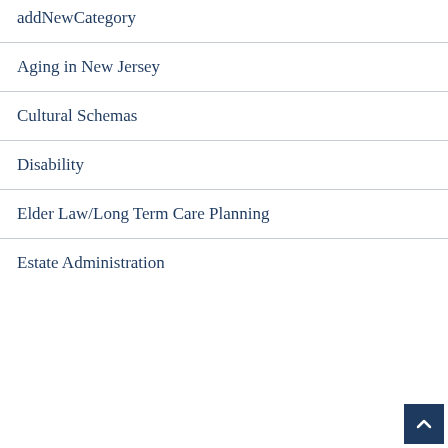addNewCategory
Aging in New Jersey
Cultural Schemas
Disability
Elder Law/Long Term Care Planning
Estate Administration